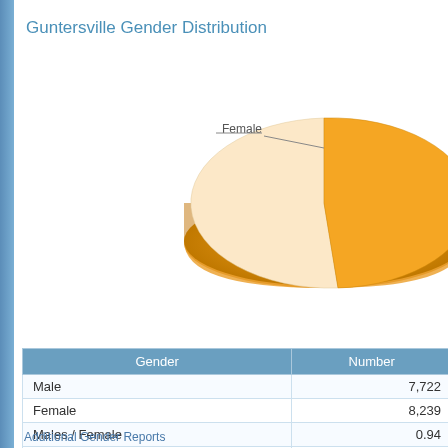Guntersville Gender Distribution
[Figure (pie-chart): Guntersville Gender Distribution]
| Gender | Number |
| --- | --- |
| Male | 7,722 |
| Female | 8,239 |
| Males / Female | 0.94 |
| Total Population | 15,961 |
Additional Gender Reports